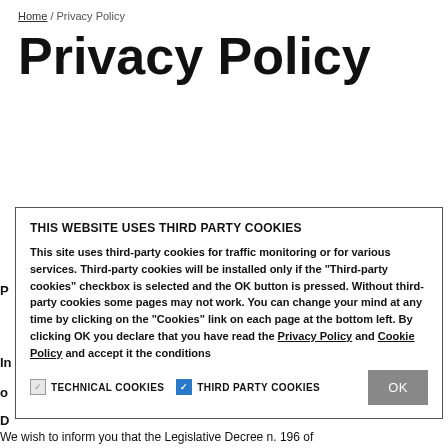Home / Privacy Policy
Privacy Policy
THIS WEBSITE USES THIRD PARTY COOKIES
This site uses third-party cookies for traffic monitoring or for various services. Third-party cookies will be installed only if the "Third-party cookies" checkbox is selected and the OK button is pressed. Without third-party cookies some pages may not work. You can change your mind at any time by clicking on the "Cookies" link on each page at the bottom left. By clicking OK you declare that you have read the Privacy Policy and Cookie Policy and accept it the conditions
TECHNICAL COOKIES   THIRD PARTY COOKIES   OK
We wish to inform you that the Legislative Decree n. 196 of